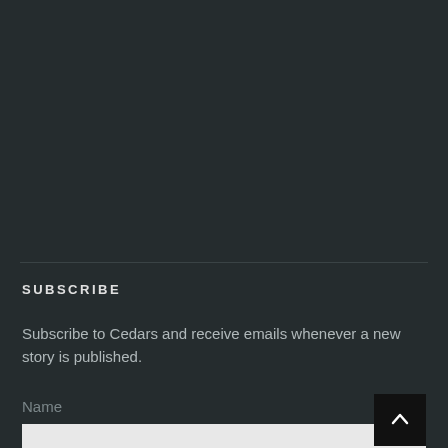SUBSCRIBE
Subscribe to Cedars and receive emails whenever a new story is published.
Name